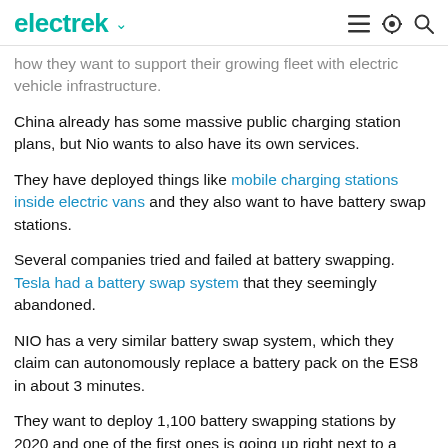electrek
how they want to support their growing fleet with electric vehicle infrastructure.
China already has some massive public charging station plans, but Nio wants to also have its own services.
They have deployed things like mobile charging stations inside electric vans and they also want to have battery swap stations.
Several companies tried and failed at battery swapping. Tesla had a battery swap system that they seemingly abandoned.
NIO has a very similar battery swap system, which they claim can autonomously replace a battery pack on the ES8 in about 3 minutes.
They want to deploy 1,100 battery swapping stations by 2020 and one of the first ones is going up right next to a